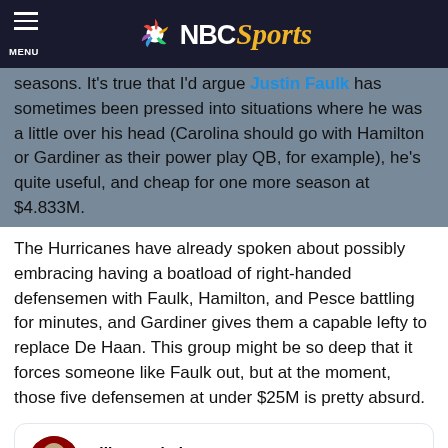NBC Sports
seasons. It's true that I'd argue Justin Faulk has sometimes been pressed into situations where he was a little over his head (Carolina should go with Hamilton or Gardiner as their power play QB, for example), he's quite useful, and cheap for one more season at $4.833M.
The Hurricanes have already spoken about possibly embracing having a boatload of right-handed defensemen with Faulk, Hamilton, and Pesce battling for minutes, and Gardiner gives them a capable lefty to replace De Haan. This group might be so deep that it forces someone like Faulk out, but at the moment, those five defensemen at under $25M is pretty absurd.
[Figure (screenshot): Embedded tweet from Elliotte Friedman (@FriedgeHNIC) with Follow link and Twitter bird icon. Tweet begins: With CAR's signing of Jake Gardiner]